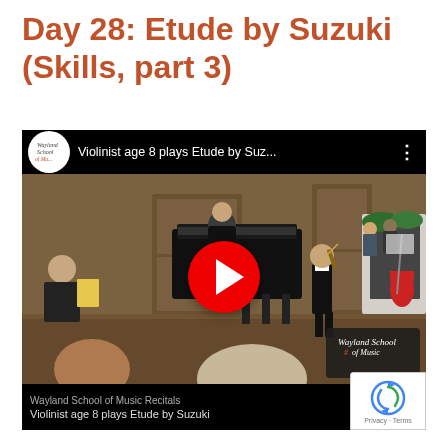Day 28: Etude by Suzuki (Skills, part 3)
[Figure (screenshot): YouTube video embed showing a young violinist age 8 playing Etude by Suzuki at a Wayland School of Music recital. The video thumbnail shows a boy playing violin in a room with a grand piano, audience members, and Christmas decorations. A red play button is overlaid in the center. The video title bar reads 'Violinist age 8 plays Etude by Suz...' with the Wayland School of Music channel logo. Bottom text shows 'Wayland School of Music Recitals' and 'Violinist age 8 plays Etude by Suzuki'. A reCAPTCHA badge appears in the bottom right corner showing 'Privacy - Terms'.]